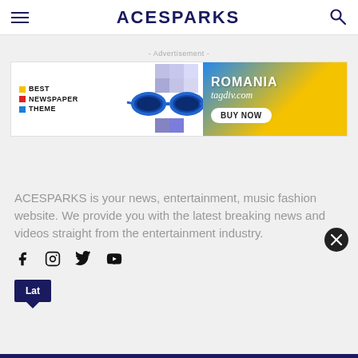ACESPARKS
[Figure (illustration): Advertisement banner for tagdiv.com Romania newspaper theme with sunglasses and Buy Now button]
ACESPARKS is your news, entertainment, music fashion website. We provide you with the latest breaking news and videos straight from the entertainment industry.
[Figure (illustration): Social media icons: Facebook, Instagram, Twitter, YouTube]
[Figure (illustration): Latest button in dark navy blue with speech bubble arrow]